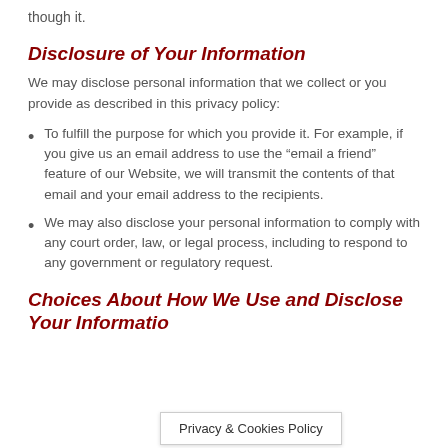though it.
Disclosure of Your Information
We may disclose personal information that we collect or you provide as described in this privacy policy:
To fulfill the purpose for which you provide it. For example, if you give us an email address to use the “email a friend” feature of our Website, we will transmit the contents of that email and your email address to the recipients.
We may also disclose your personal information to comply with any court order, law, or legal process, including to respond to any government or regulatory request.
Choices About How We Use and Disclose Your Information
Privacy & Cookies Policy